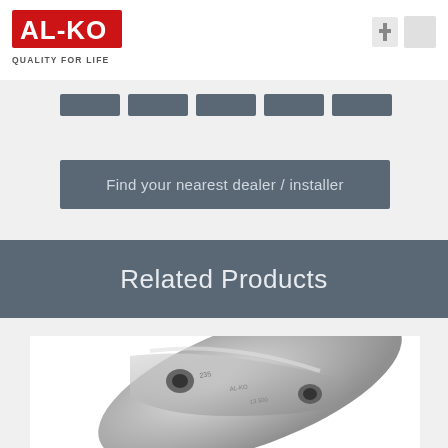[Figure (logo): AL-KO red logo with text AL-KO and tagline QUALITY FOR LIFE]
QUALITY FOR LIFE
[Figure (other): Navigation bar with five dark grey rectangular buttons]
Find your nearest dealer / installer
Related Products
[Figure (photo): Close-up photo of a metal mechanical part, appearing to be a cast metal component with holes and ridges, shown against a white background]